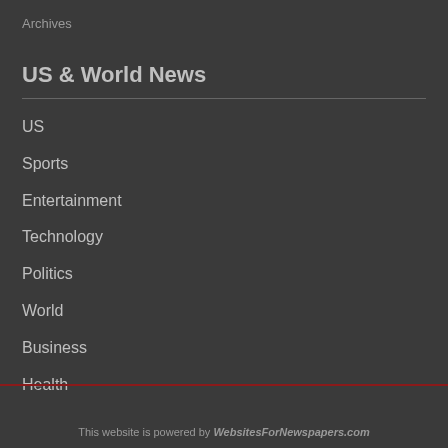Archives
US & World News
US
Sports
Entertainment
Technology
Politics
World
Business
Health
This website is powered by WebsitesForNewspapers.com